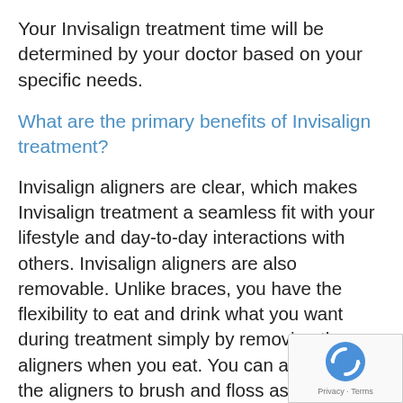Your Invisalign treatment time will be determined by your doctor based on your specific needs.
What are the primary benefits of Invisalign treatment?
Invisalign aligners are clear, which makes Invisalign treatment a seamless fit with your lifestyle and day-to-day interactions with others. Invisalign aligners are also removable. Unlike braces, you have the flexibility to eat and drink what you want during treatment simply by removing the aligners when you eat. You can also remove the aligners to brush and floss as you normally would for fresh breath and good hygiene.
[Figure (logo): reCAPTCHA badge with rotating arrows icon and Privacy · Terms text]